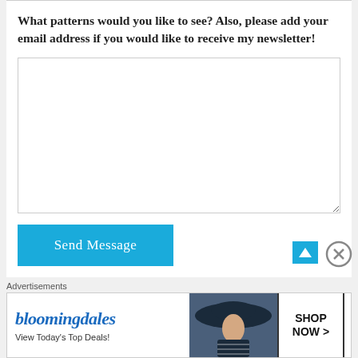What patterns would you like to see? Also, please add your email address if you would like to receive my newsletter!
[Figure (other): A large empty textarea input field for user text entry, with a resize handle at bottom-right corner]
[Figure (other): A blue 'Send Message' button]
Advertisements
[Figure (other): Bloomingdale's advertisement banner showing logo, 'View Today's Top Deals!' text, a woman in a wide-brim hat, and a 'SHOP NOW >' button]